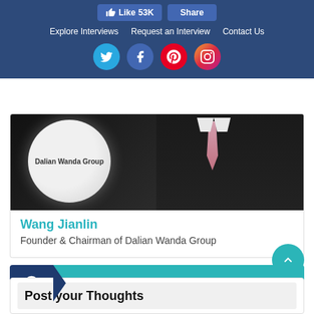Like 53K | Share | Explore Interviews | Request an Interview | Contact Us
[Figure (screenshot): Social media icons: Twitter, Facebook, Pinterest, Instagram circular icons]
[Figure (photo): Wang Jianlin photo with Dalian Wanda Group logo circle in background, person in dark suit with pink tie]
Wang Jianlin
Founder & Chairman of Dalian Wanda Group
[Figure (infographic): View All Stories banner with eye icon on dark blue left panel and teal right panel]
Post your Thoughts